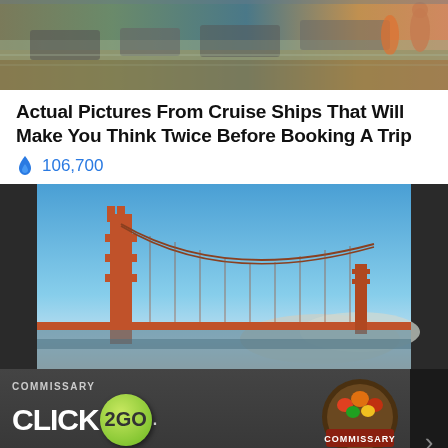[Figure (photo): Aerial view of flooded area with people wading through water near vehicles]
Actual Pictures From Cruise Ships That Will Make You Think Twice Before Booking A Trip
🔥 106,700
[Figure (photo): Golden Gate Bridge with blue sky background, dark sidebar panels on left and right]
[Figure (photo): Commissary Click2Go advertisement banner with green badge logo and Commissary circular logo]
Articles left: 4
Subscribe to get unlimited access  Subscribe
Already have an account?  Login here